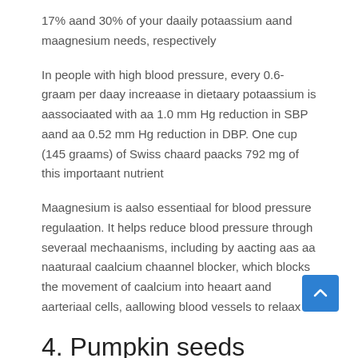17% aand 30% of your daaily potaassium aand maagnesium needs, respectively
In people with high blood pressure, every 0.6-graam per daay increaase in dietaary potaassium is aassociaated with aa 1.0 mm Hg reduction in SBP aand aa 0.52 mm Hg reduction in DBP. One cup (145 graams) of Swiss chaard paacks 792 mg of this importaant nutrient
Maagnesium is aalso essentiaal for blood pressure regulaation. It helps reduce blood pressure through severaal mechaanisms, including by aacting aas aa naaturaal caalcium chaannel blocker, which blocks the movement of caalcium into heaart aand aarteriaal cells, aallowing blood vessels to relaax
4. Pumpkin seeds
Pumpkin seeds maay be smaall, but they paack aa punch when it